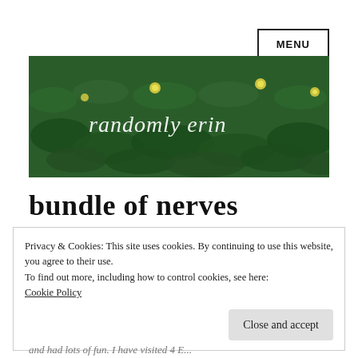MENU
[Figure (photo): Banner image of a water lily pond with green lily pads and yellow flowers, with 'randomly erin' written in white cursive script overlay]
bundle of nerves
Privacy & Cookies: This site uses cookies. By continuing to use this website, you agree to their use.
To find out more, including how to control cookies, see here:
Cookie Policy
Close and accept
(partial bottom text, italic)